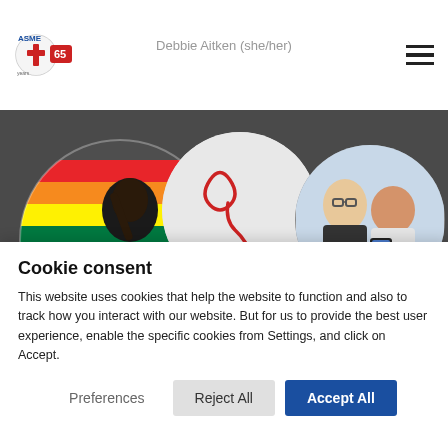Debbie Aitken (she/her)
[Figure (photo): Hero banner image showing three circular vignette photos: a Black woman smiling and holding a rainbow pride flag, a white circle with a red stethoscope heart illustration, and two people smiling at a phone. Text overlay reads: 'Continuing professional development on the use of pronouns and LGBTQ+ issues']
Cookie consent
This website uses cookies that help the website to function and also to track how you interact with our website. But for us to provide the best user experience, enable the specific cookies from Settings, and click on Accept.
Preferences   Reject All   Accept All